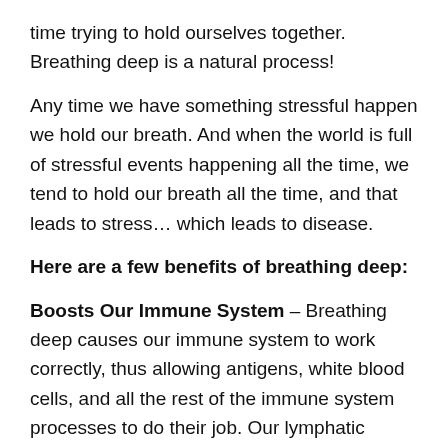time trying to hold ourselves together. Breathing deep is a natural process!
Any time we have something stressful happen we hold our breath. And when the world is full of stressful events happening all the time, we tend to hold our breath all the time, and that leads to stress… which leads to disease.
Here are a few benefits of breathing deep:
Boosts Our Immune System – Breathing deep causes our immune system to work correctly, thus allowing antigens, white blood cells, and all the rest of the immune system processes to do their job. Our lymphatic system is improved by the simple act of breathing deep, thus more toxins and invaders are rounded up and kept under control. Holding our breath creates stress which